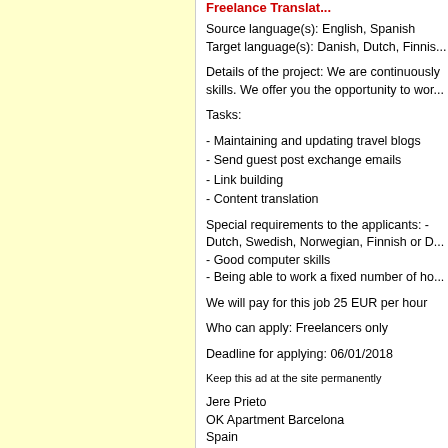Freelance Translator...
Source language(s): English, Spanish
Target language(s): Danish, Dutch, Finnis...
Details of the project: We are continuously... skills. We offer you the opportunity to wor...
Tasks:
- Maintaining and updating travel blogs
- Send guest post exchange emails
- Link building
- Content translation
Special requirements to the applicants: - Dutch, Swedish, Norwegian, Finnish or D...
- Good computer skills
- Being able to work a fixed number of ho...
We will pay for this job 25 EUR per hour
Who can apply: Freelancers only
Deadline for applying: 06/01/2018
Keep this ad at the site permanently
Jere Prieto
OK Apartment Barcelona
Spain